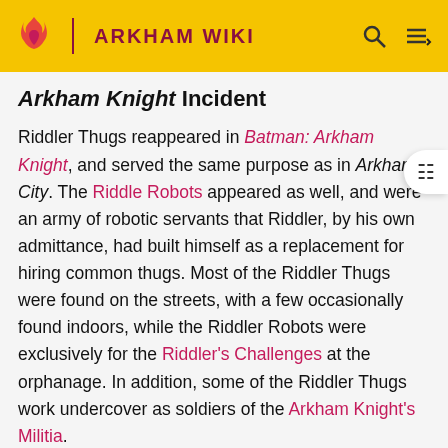ARKHAM WIKI
Arkham Knight Incident
Riddler Thugs reappeared in Batman: Arkham Knight, and served the same purpose as in Arkham City. The Riddle Robots appeared as well, and were an army of robotic servants that Riddler, by his own admittance, had built himself as a replacement for hiring common thugs. Most of the Riddler Thugs were found on the streets, with a few occasionally found indoors, while the Riddler Robots were exclusively for the Riddler's Challenges at the orphanage. In addition, some of the Riddler Thugs work undercover as soldiers of the Arkham Knight's Militia.
Catwoman's Revenge Incident
The Riddler Thugs were later tasked with guarding the